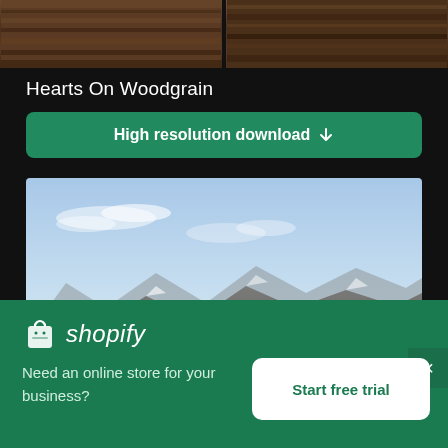[Figure (photo): Woodgrain texture split into two panels at the top of the page]
Hearts On Woodgrain
High resolution download ↓
[Figure (photo): Landscape photograph showing mountains under a blue sky with light clouds]
[Figure (logo): Shopify logo with shopping bag icon and italic wordmark]
Need an online store for your business?
Start free trial